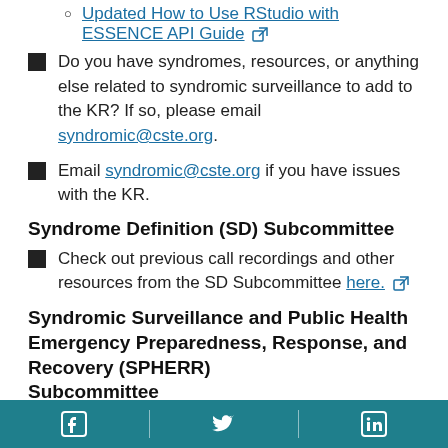Updated How to Use RStudio with ESSENCE API Guide [external link]
Do you have syndromes, resources, or anything else related to syndromic surveillance to add to the KR? If so, please email syndromic@cste.org.
Email syndromic@cste.org if you have issues with the KR.
Syndrome Definition (SD) Subcommittee
Check out previous call recordings and other resources from the SD Subcommittee here. [external link]
Syndromic Surveillance and Public Health Emergency Preparedness, Response, and Recovery (SPHERR) Subcommittee
Facebook | Twitter | LinkedIn